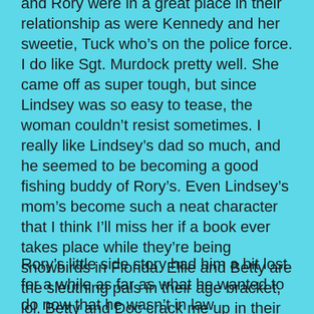and Rory were in a great place in their relationship as were Kennedy and her sweetie, Tuck who's on the police force. I do like Sgt. Murdock pretty well. She came off as super tough, but since Lindsey was so easy to tease, the woman couldn't resist sometimes. I really like Lindsey's dad so much, and he seemed to be becoming a good fishing buddy of Rory's. Even Lindsey's mom's become such a neat character that I think I'll miss her if a book ever takes place while they're being snowbirds in Florida. Ellie and Betty are the sleuthing pals in their age bracket, lol. Betty and Doc crack me up in their relationship, just too cute!
Rory's little side story had him a bit lost for a while as far as what he wanted to do now that he wasn't in law enforcement. I think he came up with the perfect solution as you'll read at the very end of the book.
The showdown was actually pretty sad, so you might need